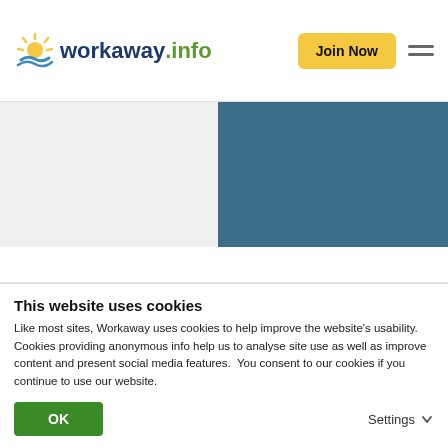workaway.info — Join Now
[Figure (screenshot): Workaway.info website header with logo (sun graphic, 'workaway' in dark blue, '.info' in green), a yellow 'Join Now' button, and a hamburger menu icon on the right.]
[Figure (photo): Two-panel area: left panel is light gray background, right panel is a teal/dark blue rectangular block (partially visible photo or map).]
FEEDBACK LEFT BY AND ABOUT HOST
To leave feedback make sure you are lo...
This website uses cookies
Like most sites, Workaway uses cookies to help improve the website's usability. Cookies providing anonymous info help us to analyse site use as well as improve content and present social media features.  You consent to our cookies if you continue to use our website.
OK
Settings